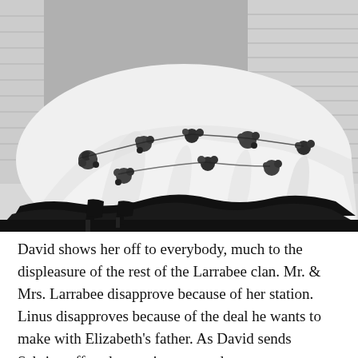[Figure (photo): Black and white photograph showing the lower portion of a woman wearing a white ball gown or full skirt dress with elaborate black floral embroidery and a ruffled black hem trim. The woman is wearing black high heels. Background shows white shutter blinds/louvers.]
David shows her off to everybody, much to the displeasure of the rest of the Larrabee clan. Mr. & Mrs. Larrabee disapprove because of her station. Linus disapproves because of the deal he wants to make with Elizabeth's father. As David sends Sabrina off to the tennis court and